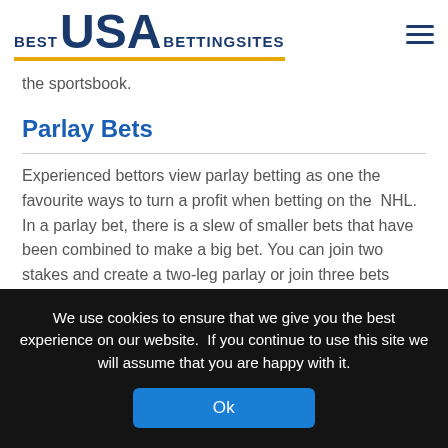BEST USA BETTINGSITES
the sportsbook.
Parlay Bets
Experienced bettors view parlay betting as one the favourite ways to turn a profit when betting on the NHL. In a parlay bet, there is a slew of smaller bets that have been combined to make a big bet. You can join two stakes and create a two-leg parlay or join three bets
We use cookies to ensure that we give you the best experience on our website. If you continue to use this site we will assume that you are happy with it.